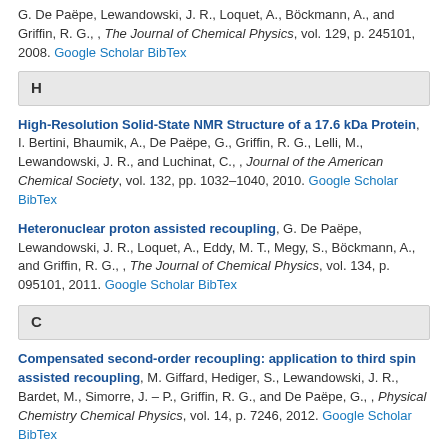G. De Paëpe, Lewandowski, J. R., Loquet, A., Böckmann, A., and Griffin, R. G., , The Journal of Chemical Physics, vol. 129, p. 245101, 2008. Google Scholar BibTex
H
High-Resolution Solid-State NMR Structure of a 17.6 kDa Protein, I. Bertini, Bhaumik, A., De Paëpe, G., Griffin, R. G., Lelli, M., Lewandowski, J. R., and Luchinat, C., , Journal of the American Chemical Society, vol. 132, pp. 1032–1040, 2010. Google Scholar BibTex
Heteronuclear proton assisted recoupling, G. De Paëpe, Lewandowski, J. R., Loquet, A., Eddy, M. T., Megy, S., Böckmann, A., and Griffin, R. G., , The Journal of Chemical Physics, vol. 134, p. 095101, 2011. Google Scholar BibTex
C
Compensated second-order recoupling: application to third spin assisted recoupling, M. Giffard, Hediger, S., Lewandowski, J. R., Bardet, M., Simorre, J. – P., Griffin, R. G., and De Paëpe, G., , Physical Chemistry Chemical Physics, vol. 14, p. 7246, 2012. Google Scholar BibTex
I